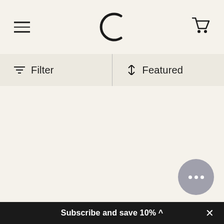Hamburger menu | C logo | Cart icon
Filter | Featured
[Figure (other): Chat support button with three dots]
Subscribe and save 10% ^